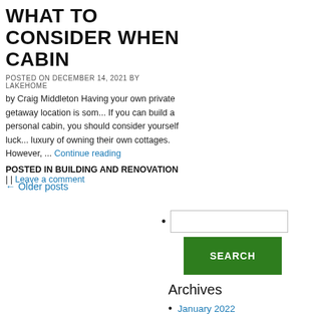WHAT TO CONSIDER WHEN CABIN
POSTED ON DECEMBER 14, 2021 BY LAKEHOME
by Craig Middleton Having your own private getaway location is som... If you can build a personal cabin, you should consider yourself luck... luxury of owning their own cottages. However, ... Continue reading
POSTED IN BUILDING AND RENOVATION | | Leave a comment
← Older posts
SEARCH
Archives
January 2022
December 2021
November 2021
October 2021